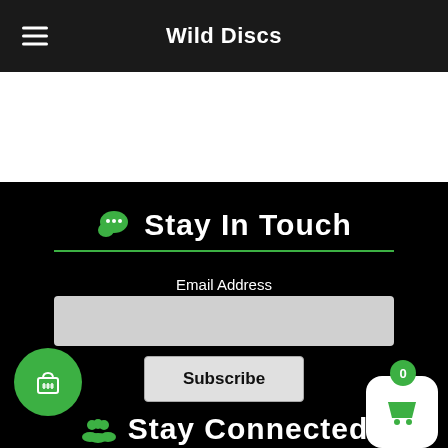Wild Discs
Stay In Touch
Email Address
Subscribe
Stay Connected